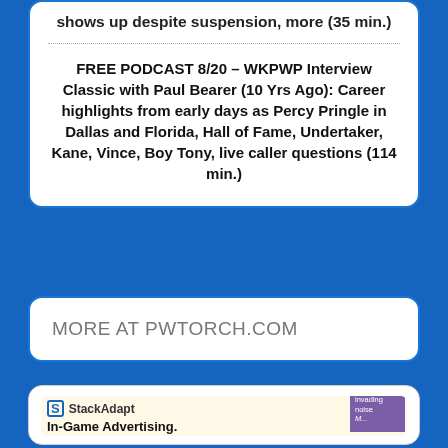shows up despite suspension, more (35 min.)
FREE PODCAST 8/20 – WKPWP Interview Classic with Paul Bearer (10 Yrs Ago): Career highlights from early days as Percy Pringle in Dallas and Florida, Hall of Fame, Undertaker, Kane, Vince, Boy Tony, live caller questions (114 min.)
MORE AT PWTORCH.COM
[Figure (photo): StackAdapt advertisement: In-Game Advertising. 100% viewable. with purple card overlay showing 'Less invading noise']